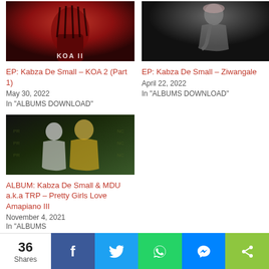[Figure (photo): Album artwork thumbnail for Kabza De Small KOA 2 Part 1, dark red tones with braids]
EP: Kabza De Small – KOA 2 (Part 1)
May 30, 2022
In "ALBUMS DOWNLOAD"
[Figure (photo): Artist photo thumbnail for Kabza De Small Ziwangale, dark background with person leaning]
EP: Kabza De Small – Ziwangale
April 22, 2022
In "ALBUMS DOWNLOAD"
[Figure (photo): Album artwork thumbnail for Pretty Girls Love Amapiano III, two artists on dark urban background]
ALBUM: Kabza De Small & MDU a.k.a TRP – Pretty Girls Love Amapiano III
November 4, 2021
In "ALBUMS
36 Shares | Facebook | Twitter | WhatsApp | Messenger | Share